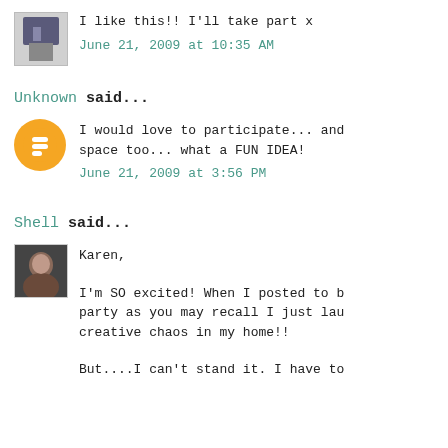I like this!! I'll take part x
June 21, 2009 at 10:35 AM
Unknown said...
I would love to participate... and space too... what a FUN IDEA!
June 21, 2009 at 3:56 PM
Shell said...
Karen,
I'm SO excited! When I posted to b party as you may recall I just lau creative chaos in my home!!
But....I can't stand it. I have to